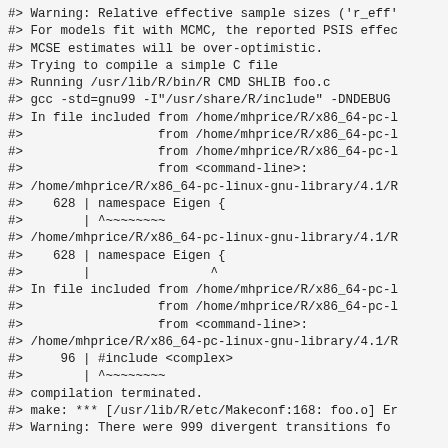#> Warning: Relative effective sample sizes ('r_eff'
#> For models fit with MCMC, the reported PSIS effec
#> MCSE estimates will be over-optimistic.
#> Trying to compile a simple C file
#> Running /usr/lib/R/bin/R CMD SHLIB foo.c
#> gcc -std=gnu99 -I"/usr/share/R/include" -DNDEBUG
#> In file included from /home/mhprice/R/x86_64-pc-l
#>                  from /home/mhprice/R/x86_64-pc-l
#>                  from /home/mhprice/R/x86_64-pc-l
#>                  from <command-line>:
#> /home/mhprice/R/x86_64-pc-linux-gnu-library/4.1/R
#>    628 | namespace Eigen {
#>        | ^~~~~~~~~
#> /home/mhprice/R/x86_64-pc-linux-gnu-library/4.1/R
#>    628 | namespace Eigen {
#>        |                ^
#> In file included from /home/mhprice/R/x86_64-pc-l
#>                  from /home/mhprice/R/x86_64-pc-l
#>                  from <command-line>:
#> /home/mhprice/R/x86_64-pc-linux-gnu-library/4.1/R
#>     96 | #include <complex>
#>        | ^~~~~~~~~
#> compilation terminated.
#> make: *** [/usr/lib/R/etc/Makeconf:168: foo.o] Er
#> Warning: There were 999 divergent transitions fo